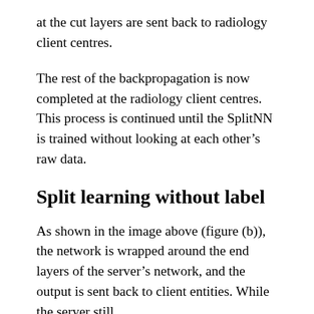at the cut layers are sent back to radiology client centres.
The rest of the backpropagation is now completed at the radiology client centres. This process is continued until the SplitNN is trained without looking at each other's raw data.
Split learning without label
As shown in the image above (figure (b)), the network is wrapped around the end layers of the server's network, and the output is sent back to client entities. While the server still